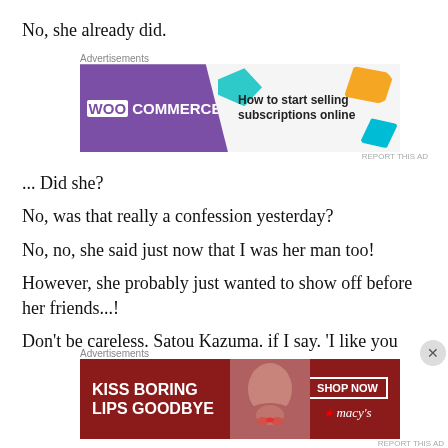No, she already did.
[Figure (illustration): WooCommerce advertisement banner: 'How to start selling subscriptions online']
... Did she?
No, was that really a confession yesterday?
No, no, she said just now that I was her man too!
However, she probably just wanted to show off before her friends...!
Don't be careless. Satou Kazuma. if I say. 'I like you
[Figure (illustration): Macy's advertisement banner: 'KISS BORING LIPS GOODBYE' with SHOP NOW button]